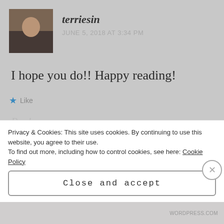[Figure (photo): Avatar/profile photo of user terriesin, showing a person with dark hair]
terriesin
JUNE 5, 2018 AT 3:34 PM
I hope you do!! Happy reading!
Like
Reply
Privacy & Cookies: This site uses cookies. By continuing to use this website, you agree to their use. To find out more, including how to control cookies, see here: Cookie Policy
Close and accept